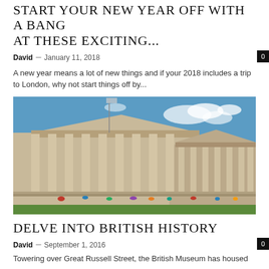START YOUR NEW YEAR OFF WITH A BANG AT THESE EXCITING...
David – January 11, 2018
A new year means a lot of new things and if your 2018 includes a trip to London, why not start things off by...
[Figure (photo): Exterior of the British Museum showing large stone columns and classical facade under a blue sky, with a crowd of visitors on the grounds]
DELVE INTO BRITISH HISTORY
David – September 1, 2016
Towering over Great Russell Street, the British Museum has housed